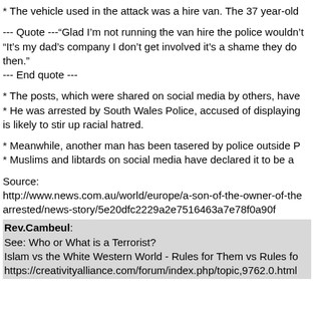* The vehicle used in the attack was a hire van. The 37 year-old
--- Quote ---“Glad I’m not running the van hire the police wouldn’t
“It’s my dad’s company I don’t get involved it’s a shame they do then."
--- End quote ---
* The posts, which were shared on social media by others, have
* He was arrested by South Wales Police, accused of displaying is likely to stir up racial hatred.
* Meanwhile, another man has been tasered by police outside P
* Muslims and libtards on social media have declared it to be a
Source:
http://www.news.com.au/world/europe/a-son-of-the-owner-of-the arrested/news-story/5e20dfc2229a2e7516463a7e78f0a90f
Rev.Cambeul:
See: Who or What is a Terrorist?
Islam vs the White Western World - Rules for Them vs Rules fo
https://creativityalliance.com/forum/index.php/topic,9762.0.html